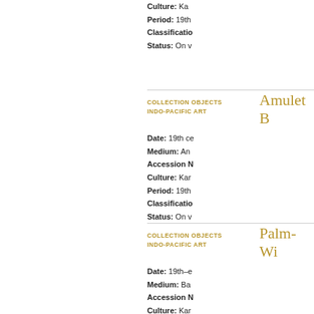Culture: Ka
Period: 19th
Classificatio
Status: On v
COLLECTION OBJECTS
INDO-PACIFIC ART
Amulet B
Date: 19th ce
Medium: An
Accession N
Culture: Kar
Period: 19th
Classificatio
Status: On v
COLLECTION OBJECTS
INDO-PACIFIC ART
Palm-Win
Date: 19th–e
Medium: Ba
Accession N
Culture: Kar
Period: 19th
Classificatio